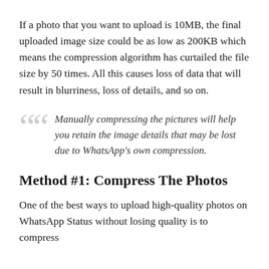If a photo that you want to upload is 10MB, the final uploaded image size could be as low as 200KB which means the compression algorithm has curtailed the file size by 50 times. All this causes loss of data that will result in blurriness, loss of details, and so on.
Manually compressing the pictures will help you retain the image details that may be lost due to WhatsApp's own compression.
Method #1: Compress The Photos
One of the best ways to upload high-quality photos on WhatsApp Status without losing quality is to compress